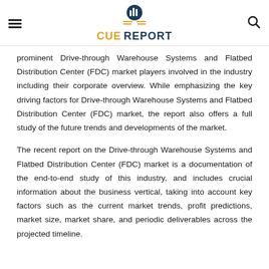CUE REPORT
prominent Drive-through Warehouse Systems and Flatbed Distribution Center (FDC) market players involved in the industry including their corporate overview. While emphasizing the key driving factors for Drive-through Warehouse Systems and Flatbed Distribution Center (FDC) market, the report also offers a full study of the future trends and developments of the market.
The recent report on the Drive-through Warehouse Systems and Flatbed Distribution Center (FDC) market is a documentation of the end-to-end study of this industry, and includes crucial information about the business vertical, taking into account key factors such as the current market trends, profit predictions, market size, market share, and periodic deliverables across the projected timeline.